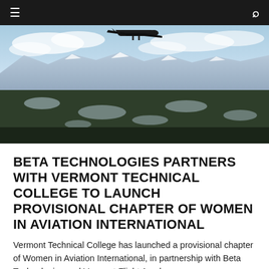≡    🔍
[Figure (photo): Aerial photograph of a small aircraft flying over a forested landscape with mountains and frozen lakes in the background under a blue sky with clouds.]
BETA TECHNOLOGIES PARTNERS WITH VERMONT TECHNICAL COLLEGE TO LAUNCH PROVISIONAL CHAPTER OF WOMEN IN AVIATION INTERNATIONAL
Vermont Technical College has launched a provisional chapter of Women in Aviation International, in partnership with Beta Technologies and Vermont Flight Acade...